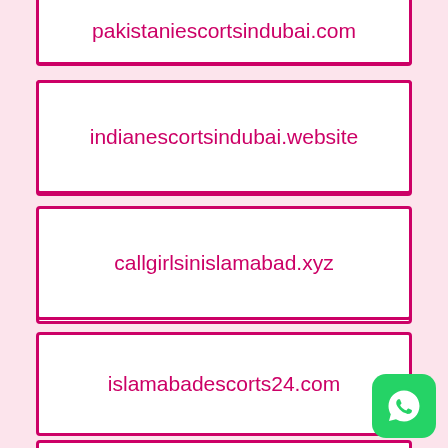pakistaniescortsindubai.com
indianescortsindubai.website
callgirlsinislamabad.xyz
islamabadescorts24.com
karachiescorts